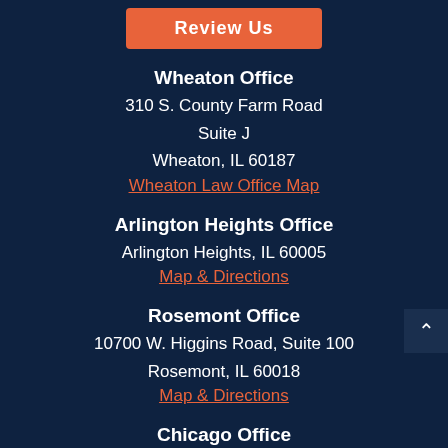[Figure (other): Orange 'Review Us' button at top of page]
Wheaton Office
310 S. County Farm Road
Suite J
Wheaton, IL 60187
Wheaton Law Office Map
Arlington Heights Office
Arlington Heights, IL 60005
Map & Directions
Rosemont Office
10700 W. Higgins Road, Suite 100
Rosemont, IL 60018
Map & Directions
Chicago Office
311 N. Aberdeen, 3rd Floor